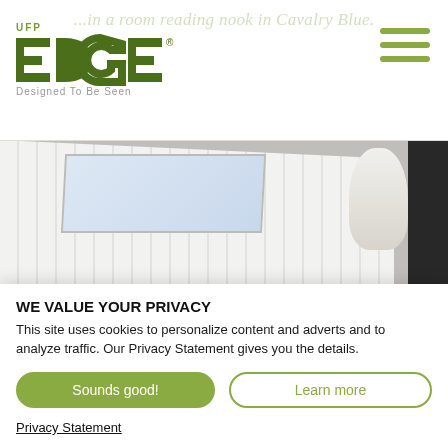[Figure (screenshot): UFP Edge logo with 'Designed To Be Seen' tagline and hamburger menu icon on the right, with faint italic background text reading '...in a room reading nook in Cavalry Blue.']
[Figure (photo): Interior room photo showing white tongue-and-groove ceiling panels with a skylight window, a recessed light strip, two windows at the bottom, a dark wood accent wall on the right, and a person near the top right corner.]
WE VALUE YOUR PRIVACY
This site uses cookies to personalize content and adverts and to analyze traffic. Our Privacy Statement gives you the details.
Sounds good!
Learn more
Privacy Statement